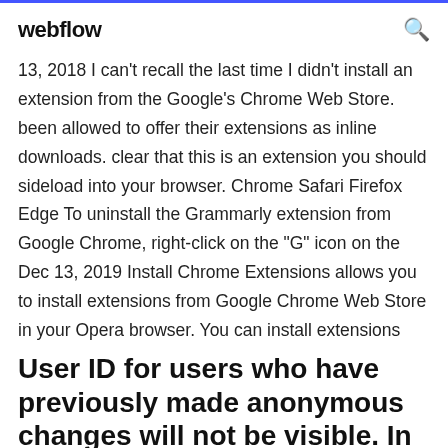webflow
13, 2018 I can't recall the last time I didn't install an extension from the Google's Chrome Web Store. been allowed to offer their extensions as inline downloads. clear that this is an extension you should sideload into your browser. Chrome Safari Firefox Edge To uninstall the Grammarly extension from Google Chrome, right-click on the "G" icon on the Dec 13, 2019 Install Chrome Extensions allows you to install extensions from Google Chrome Web Store in your Opera browser. You can install extensions
User ID for users who have previously made anonymous changes will not be visible. In